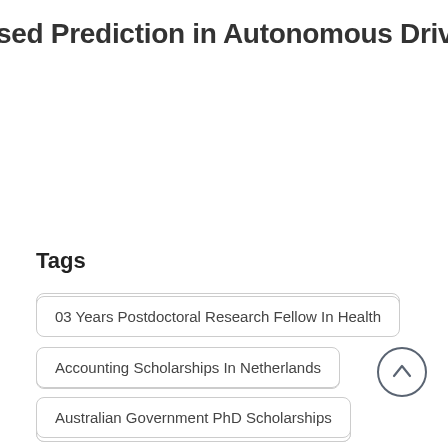sed Prediction in Autonomous Driving -
Tags
03 Years Postdoctoral Research Fellow In Health
Accounting Scholarships In Netherlands
Australian Government PhD Scholarships
Australian Scholarships For International Students
DAAD PhD Scholarships In Germany